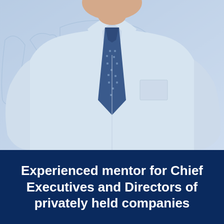[Figure (photo): Photo of a man in a light blue dress shirt and a dark blue patterned tie, shown from the chest/shoulder area upward, with a light blue background featuring a faint world map outline.]
Experienced mentor for Chief Executives and Directors of privately held companies